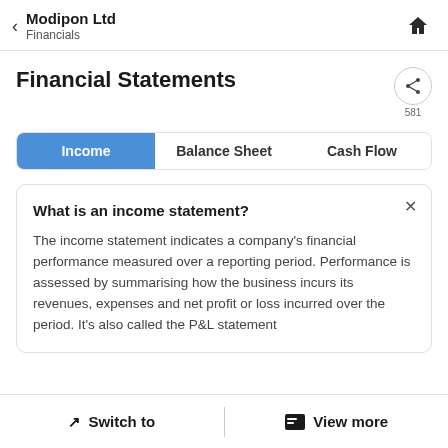Modipon Ltd – Financials
Financial Statements
581
Income | Balance Sheet | Cash Flow
What is an income statement?
The income statement indicates a company's financial performance measured over a reporting period. Performance is assessed by summarising how the business incurs its revenues, expenses and net profit or loss incurred over the period. It's also called the P&L statement
Switch to  |  View more